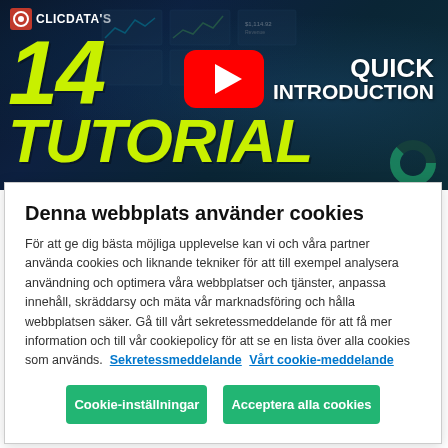[Figure (screenshot): ClicData tutorial video thumbnail showing dashboard analytics with yellow italic text '14 TUTORIAL' and 'QUICK INTRODUCTION' on dark blue background with YouTube play button]
Denna webbplats använder cookies
För att ge dig bästa möjliga upplevelse kan vi och våra partner använda cookies och liknande tekniker för att till exempel analysera användning och optimera våra webbplatser och tjänster, anpassa innehåll, skräddarsy och mäta vår marknadsföring och hålla webbplatsen säker. Gå till vårt sekretessmeddelande för att få mer information och till vår cookiepolicy för att se en lista över alla cookies som används.  Sekretessmeddelande  Vårt cookie-meddelande
Cookie-inställningar
Acceptera alla cookies